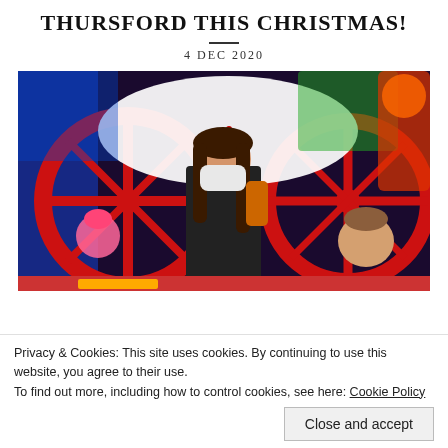THURSFORD THIS CHRISTMAS!
4 DEC  2020
[Figure (photo): Photo of a woman wearing a face mask standing in front of colourful Christmas fairground machinery with large red wheels and festive decorations, accompanied by two children at Thursford Christmas Spectacular.]
Privacy & Cookies: This site uses cookies. By continuing to use this website, you agree to their use.
To find out more, including how to control cookies, see here: Cookie Policy
Close and accept